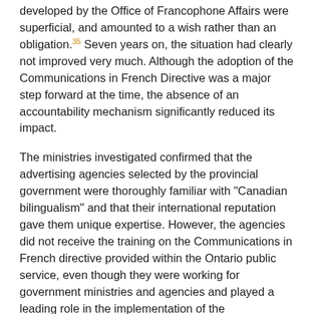developed by the Office of Francophone Affairs were superficial, and amounted to a wish rather than an obligation.35 Seven years on, the situation had clearly not improved very much. Although the adoption of the Communications in French Directive was a major step forward at the time, the absence of an accountability mechanism significantly reduced its impact.
The ministries investigated confirmed that the advertising agencies selected by the provincial government were thoroughly familiar with "Canadian bilingualism" and that their international reputation gave them unique expertise. However, the agencies did not receive the training on the Communications in French directive provided within the Ontario public service, even though they were working for government ministries and agencies and played a leading role in the implementation of the government's communications strategy. Just because the agencies selected by the provincial government were familiar with Canadian bilingualism did nothing to guarantee that they were properly informed about Francophone realities in Ontario or that they were sensitive to them.
Are the requirements included in the media briefs enough